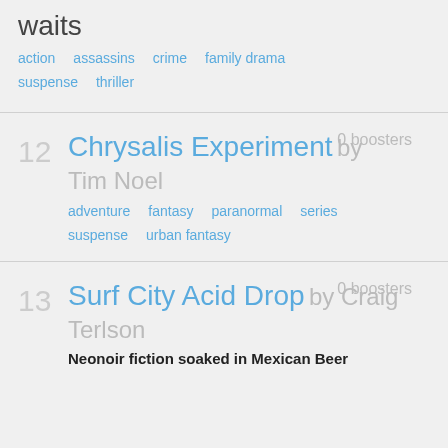waits
action   assassins   crime   family drama
suspense   thriller
Chrysalis Experiment by Tim Noel
0 boosters
adventure   fantasy   paranormal   series
suspense   urban fantasy
Surf City Acid Drop by Craig Terlson
0 boosters
Neonoir fiction soaked in Mexican Beer